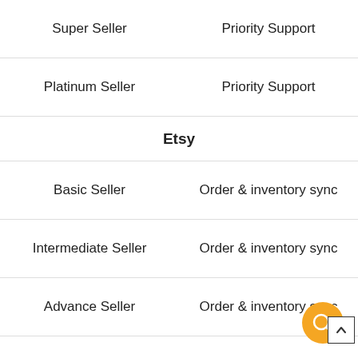| Super Seller | Priority Support |
| Platinum Seller | Priority Support |
| Etsy |  |
| Basic Seller | Order & inventory sync |
| Intermediate Seller | Order & inventory sync |
| Advance Seller | Order & inventory sync |
| Super Seller | Order & inventory sync |